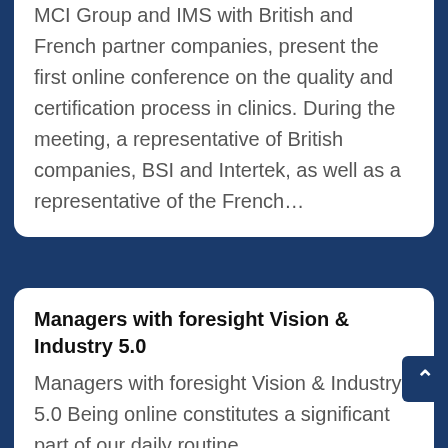MCI Group and IMS with British and French partner companies, present the first online conference on the quality and certification process in clinics. During the meeting, a representative of British companies, BSI and Intertek, as well as a representative of the French...
Managers with foresight Vision & Industry 5.0
Managers with foresight Vision & Industry 5.0 Being online constitutes a significant part of our daily routine.